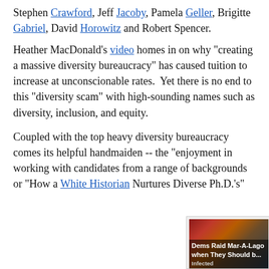Stephen Crawford, Jeff Jacoby, Pamela Geller, Brigitte Gabriel, David Horowitz and Robert Spencer.
Heather MacDonald's video homes in on why "creating a massive diversity bureaucracy" has caused tuition to increase at unconscionable rates.  Yet there is no end to this "diversity scam" with high-sounding names such as diversity, inclusion, and equity.
Coupled with the top heavy diversity bureaucracy comes its helpful handmaiden -- the "enjoyment in working with candidates from a range of backgrounds or "How a White Historian Nurtures Diverse Ph.D.'s"
[Figure (other): Advertisement widget showing two news thumbnails: 'Dems Raid Mar-A-Lago when They Should b...' tagged Infected, and 'A Tragic End Today For Willie Nelson' tagged Breaking News, with a close button.]